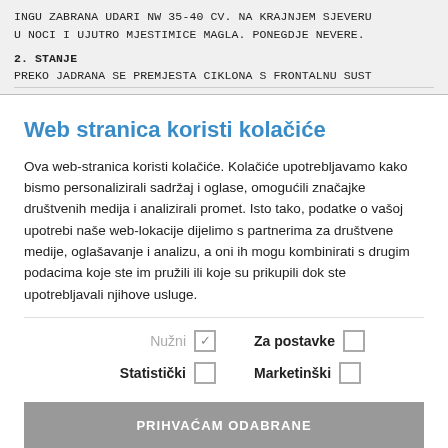INGU ZABRANA UDARI NW 35-40 CV. NA KRAJNJEM SJEVERU U NOCI I UJUTRO MJESTIMICE MAGLA. PONEGDJE NEVERE.
2. STANJE
PREKO JADRANA SE PREMJESTA CIKLONA S FRONTALNU SUST...
Web stranica koristi kolačiće
Ova web-stranica koristi kolačiće. Kolačiće upotrebljavamo kako bismo personalizirali sadržaj i oglase, omogućili značajke društvenih medija i analizirali promet. Isto tako, podatke o vašoj upotrebi naše web-lokacije dijelimo s partnerima za društvene medije, oglašavanje i analizu, a oni ih mogu kombinirati s drugim podacima koje ste im pružili ili koje su prikupili dok ste upotrebljavali njihove usluge.
Nužni [checked] Za postavke [ ] Statistički [ ] Marketinški [ ]
PRIHVAĆAM ODABRANE
PRIHVAĆAM SVE PONUĐENE